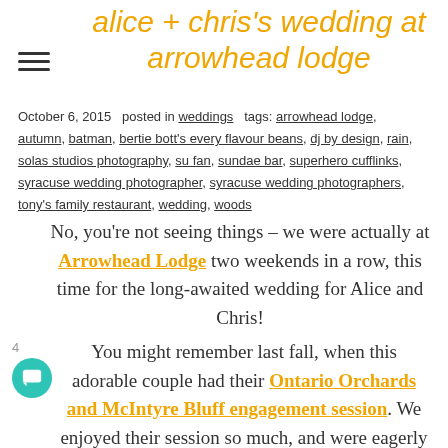alice + chris's wedding at arrowhead lodge
October 6, 2015   posted in weddings   tags: arrowhead lodge, autumn, batman, bertie bott's every flavour beans, dj by design, rain, solas studios photography, su fan, sundae bar, superhero cufflinks, syracuse wedding photographer, syracuse wedding photographers, tony's family restaurant, wedding, woods
No, you're not seeing things – we were actually at Arrowhead Lodge two weekends in a row, this time for the long-awaited wedding for Alice and Chris!
You might remember last fall, when this adorable couple had their Ontario Orchards and McIntyre Bluff engagement session. We enjoyed their session so much, and were eagerly awaiting their wedding day for almost exactly a year. Just like the week before, the weather for a lovely but their...